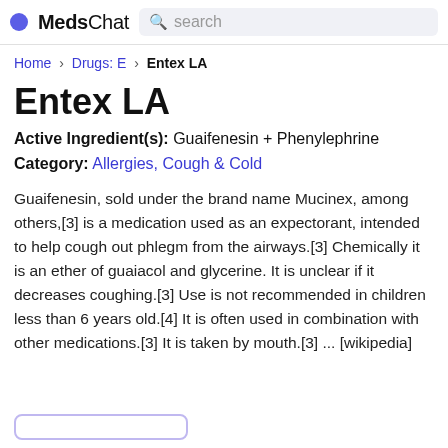MedsChat  search
Home › Drugs: E › Entex LA
Entex LA
Active Ingredient(s): Guaifenesin + Phenylephrine
Category: Allergies, Cough & Cold
Guaifenesin, sold under the brand name Mucinex, among others,[3] is a medication used as an expectorant, intended to help cough out phlegm from the airways.[3] Chemically it is an ether of guaiacol and glycerine. It is unclear if it decreases coughing.[3] Use is not recommended in children less than 6 years old.[4] It is often used in combination with other medications.[3] It is taken by mouth.[3] ... [wikipedia]